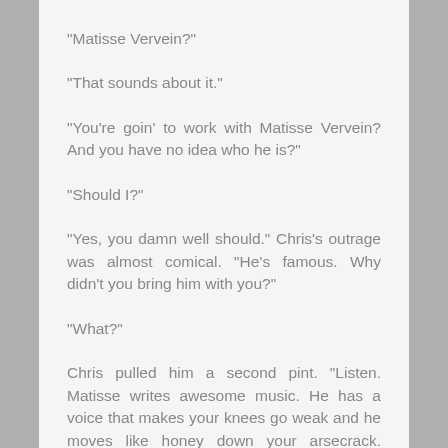"Matisse Vervein?"
"That sounds about it."
"You're goin' to work with Matisse Vervein? And you have no idea who he is?"
"Should I?"
"Yes, you damn well should." Chris's outrage was almost comical. "He's famous. Why didn't you bring him with you?"
"What?"
Chris pulled him a second pint. "Listen. Matisse writes awesome music. He has a voice that makes your knees go weak and he moves like honey down your arsecrack. People pay money to shake his hand and you're grousin' over the